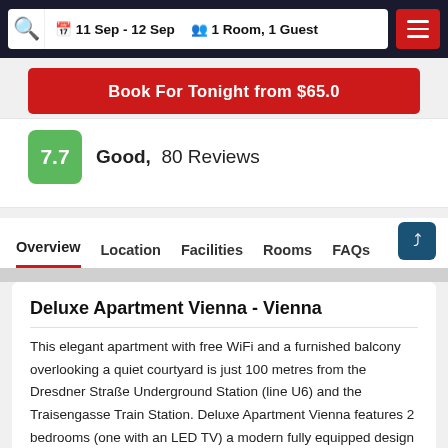11 Sep - 12 Sep   1 Room, 1 Guest
Book For Tonight from $65.0
7.7  Good,  80 Reviews
Overview   Location   Facilities   Rooms   FAQs
Deluxe Apartment Vienna - Vienna
This elegant apartment with free WiFi and a furnished balcony overlooking a quiet courtyard is just 100 metres from the Dresdner Straße Underground Station (line U6) and the Traisengasse Train Station. Deluxe Apartment Vienna features 2 bedrooms (one with an LED TV) a modern fully equipped design kitchen a living room with an LED TV DVD and Blu-ray player and a bathroom.